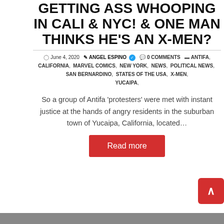GETTING ASS WHOOPING IN CALI & NYC! & ONE MAN THINKS HE'S AN X-MEN?
June 4, 2020  ANGEL ESPINO ✓  0 COMMENTS  ANTIFA, CALIFORNIA, MARVEL COMICS, NEW YORK, NEWS, POLITICAL NEWS, SAN BERNARDINO, STATES OF THE USA, X-MEN, YUCAIPA,
So a group of Antifa 'protesters' were met with instant justice at the hands of angry residents in the suburban town of Yucaipa, California, located…